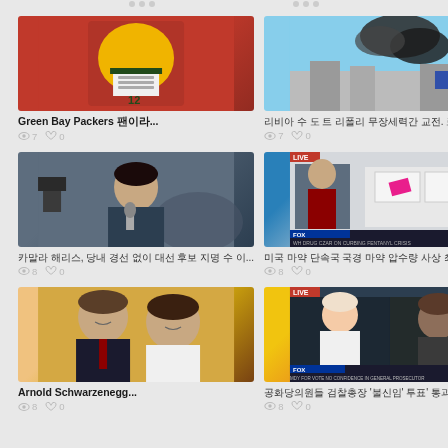[Figure (screenshot): Green Bay Packers football player in yellow helmet and white uniform on red background]
Green Bay Packers 팬이라...
👁 7  🤍 0
[Figure (photo): Black smoke rising over buildings, aerial/street view]
리비아 수 도 트 리폴리 무장세력간 교전. 로...
👁 7  🤍 0
[Figure (photo): Female reporter being interviewed outdoors near cars with camera crew]
카말라 해리스, 당내 경선 없이 대선 후보 지명 수 이...
👁 8  🤍 0
[Figure (screenshot): Fox News broadcast showing anchor and drug seizure packages with banner about fentanyl crisis]
미국 마약 단속국 국경 마약 압수량 사상 최대 수 이...
👁 8  🤍 0
[Figure (photo): Arnold Schwarzenegger posing with younger man, both smiling]
Arnold Schwarzenegg...
👁 8  🤍 0
[Figure (screenshot): Fox News broadcast with female anchor and male guest, banner about vote no confidence in general prosecutor]
공화당의원들 검찰총장 '불신임' 투표' 통과시켜 바이든...
👁 8  🤍 0